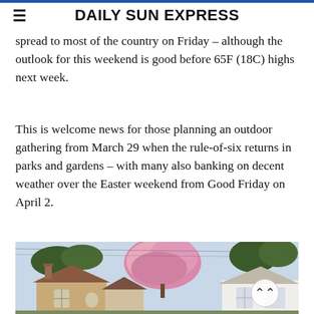DAILY SUN EXPRESS
spread to most of the country on Friday – although the outlook for this weekend is good before 65F (18C) highs next week.
This is welcome news for those planning an outdoor gathering from March 29 when the rule-of-six returns in parks and gardens – with many also banking on decent weather over the Easter weekend from Good Friday on April 2.
[Figure (photo): Photo of English village houses with rooftops and a blooming pink magnolia tree in the background against a pale sky.]